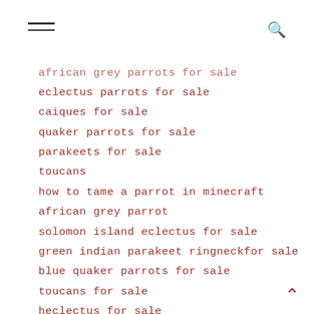≡  🔍
african grey parrots for sale
eclectus parrots for sale
caiques for sale
quaker parrots for sale
parakeets for sale
toucans
how to tame a parrot in minecraft
african grey parrot
solomon island eclectus for sale
green indian parakeet ringneckfor sale
blue quaker parrots for sale
toucans for sale
heclectus for sale
citron crested cockatoos for sale